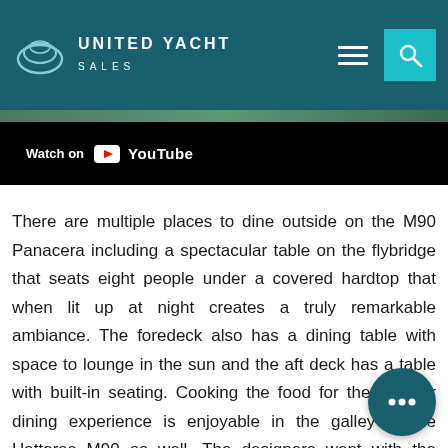UNITED YACHT SALES
[Figure (screenshot): YouTube video embed showing Watch on YouTube button over dark video thumbnail]
There are multiple places to dine outside on the M90 Panacera including a spectacular table on the flybridge that seats eight people under a covered hardtop that when lit up at night creates a truly remarkable ambiance. The foredeck also has a dining table with space to lounge in the sun and the aft deck has a table with built-in seating. Cooking the food for the outdoor dining experience is enjoyable in the galley of the Hatteras M90 as well. The designers went with the popular country-style kitchen that has an island with sink and storage in the middle. Full